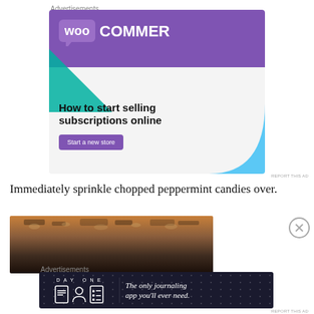Advertisements
[Figure (illustration): WooCommerce advertisement banner with purple header showing WooCommerce logo (speech bubble with 'woo' and 'COMMERCE' text), green triangle shape on left, light grey background, bold black text 'How to start selling subscriptions online', purple 'Start a new store' button, and cyan/light blue decorative shape on bottom right.]
REPORT THIS AD
Immediately sprinkle chopped peppermint candies over.
[Figure (photo): Close-up photo of food with chocolate and toppings on a brown/dark background.]
Advertisements
[Figure (illustration): Day One journaling app advertisement. Dark navy background with stars pattern. Left side shows 'DAY ONE' text with three app icon illustrations. Right side shows italic text 'The only journaling app you'll ever need.']
REPORT THIS AD